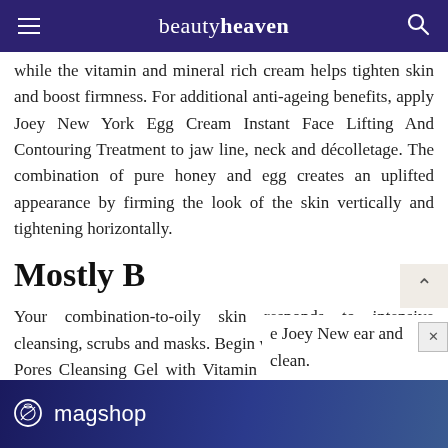beautyheaven
while the vitamin and mineral rich cream helps tighten skin and boost firmness. For additional anti-ageing benefits, apply Joey New York Egg Cream Instant Face Lifting And Contouring Treatment to jaw line, neck and décolletage. The combination of pure honey and egg creates an uplifted appearance by firming the look of the skin vertically and tightening horizontally.
Mostly B
Your combination-to-oily skin responds to intensive cleansing, scrubs and masks. Begin with Joey New York Pure Pores Cleansing Gel with Vitamin C and follow with Joey New York Pure Pores Crushed Almond And Honey Scrub any time skin feels congested. Finish with Joey New York Pure Pores Oil-Free Moisturizer With SPF 15 ... Joey New ... ear and clean.